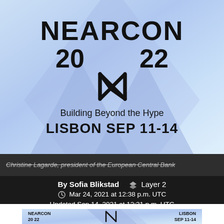[Figure (logo): NEARCON 2022 conference logo with blue/purple diamond shapes, NEAR protocol icon, tagline 'Building Beyond the Hype', location 'LISBON SEP 11-14']
Christine Lagarde, president of the European Central Bank
By Sofia Blikstad  ◆  Layer 2
Mar 24, 2021 at 12:38 p.m. UTC
Updated Sep 14, 2021 at 12:31 p.m. UTC
[Figure (logo): NEARCON 2022 banner with blue diamond shapes, NEAR icon, LISBON SEP 11-14 text]